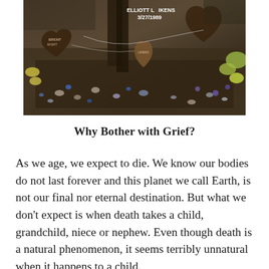[Figure (photo): A memorial garden photo showing metal heart-shaped plaques in dark soil. One plaque reads 'ELLIOTT LIKENS 3/27/1989'. Small colorful stones, flowers, and plants surround the memorial markers.]
Why Bother with Grief?
As we age, we expect to die. We know our bodies do not last forever and this planet we call Earth, is not our final nor eternal destination. But what we don't expect is when death takes a child, grandchild, niece or nephew. Even though death is a natural phenomenon, it seems terribly unnatural when it happens to a child.